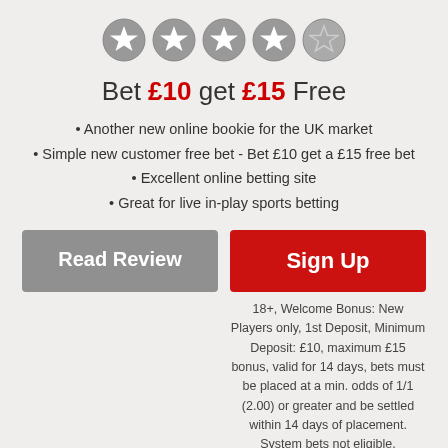[Figure (illustration): Five star rating icons, four filled grey stars and one half/empty grey star, arranged horizontally]
Bet £10 get £15 Free
Another new online bookie for the UK market
Simple new customer free bet - Bet £10 get a £15 free bet
Excellent online betting site
Great for live in-play sports betting
Read Review
Sign Up
18+, Welcome Bonus: New Players only, 1st Deposit, Minimum Deposit: £10, maximum £15 bonus, valid for 14 days, bets must be placed at a min. odds of 1/1 (2.00) or greater and be settled within 14 days of placement. System bets not eligible.